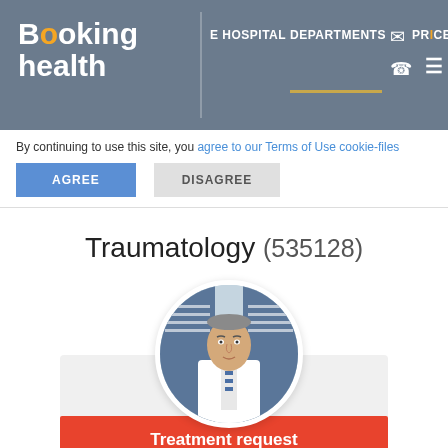[Figure (screenshot): Booking Health website header with logo, navigation tabs (HOSPITAL, DEPARTMENTS, PRICES), email and phone icons, and hamburger menu on gray background]
By continuing to use this site, you agree to our Terms of Use cookie-files
AGREE
DISAGREE
Traumatology (535128)
[Figure (photo): Circular profile photo of Prof. Dr. med. Atilla Sancar Parmaksızoğlu — a middle-aged man in white medical coat with striped tie, shown against a background with medical banners]
Prof. Dr. med.
Atilla Sancar Parmaksızoğlu
Treatment request